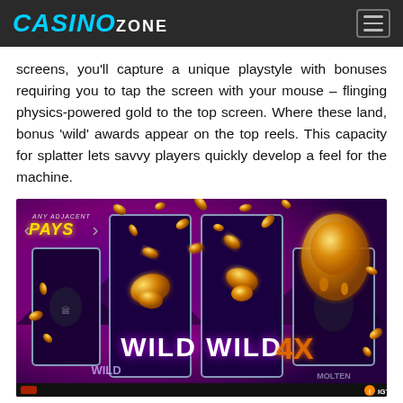CASINO ZONE
screens, you'll capture a unique playstyle with bonuses requiring you to tap the screen with your mouse – flinging physics-powered gold to the top screen. Where these land, bonus 'wild' awards appear on the top reels. This capacity for splatter lets savvy players quickly develop a feel for the machine.
[Figure (screenshot): Screenshot of a slot machine game showing reels with WILD symbols, gold coins/blobs flying across a purple background, 'ANY ADJACENT PAYS' banner in top left, 'WILD WILD 4X' text overlay, and IGT logo in bottom right corner.]